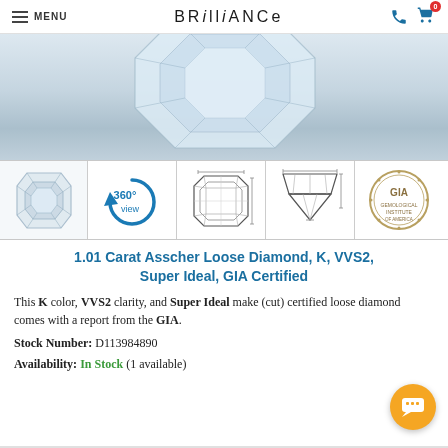MENU | BRilliANCE
[Figure (photo): Close-up photo of an Asscher cut loose diamond on a light blue/grey background, showing the top facets of the diamond.]
[Figure (photo): Thumbnail: Small photo of the Asscher cut diamond from above.]
[Figure (illustration): 360° view icon with circular arrows and text '360° view']
[Figure (engineering-diagram): Top-view diagram of Asscher cut diamond showing octagonal facet pattern with measurement lines.]
[Figure (engineering-diagram): Side-view/cross-section diagram of the Asscher cut diamond showing profile shape with measurement lines.]
[Figure (logo): GIA (Gemological Institute of America) circular seal/logo in gold/brown.]
1.01 Carat Asscher Loose Diamond, K, VVS2, Super Ideal, GIA Certified
This K color, VVS2 clarity, and Super Ideal make (cut) certified loose diamond comes with a report from the GIA.
Stock Number: D113984890
Availability: In Stock (1 available)